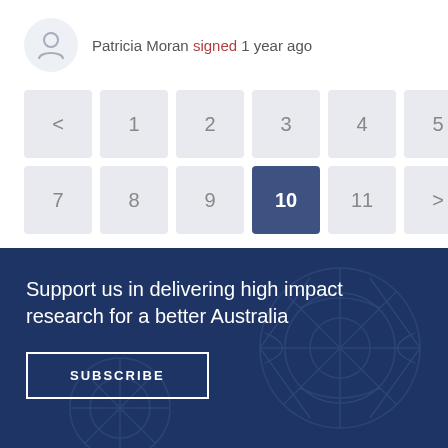Patricia Moran signed 1 year ago
< 1 2 3 4 5 6 7 8 9 10 11 >
Support us in delivering high impact research for a better Australia
SUBSCRIBE